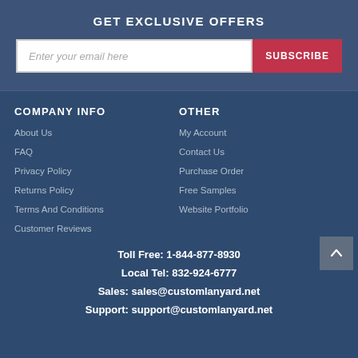GET EXCLUSIVE OFFERS
Enter your email here
SUBSCRIBE
COMPANY INFO
OTHER
About Us
My Account
FAQ
Contact Us
Privacy Policy
Purchase Order
Returns Policy
Free Samples
Terms And Conditions
Website Portfolio
Customer Reviews
Toll Free: 1-844-877-8930
Local Tel: 832-924-6777
Sales: sales@customlanyard.net
Support: support@customlanyard.net